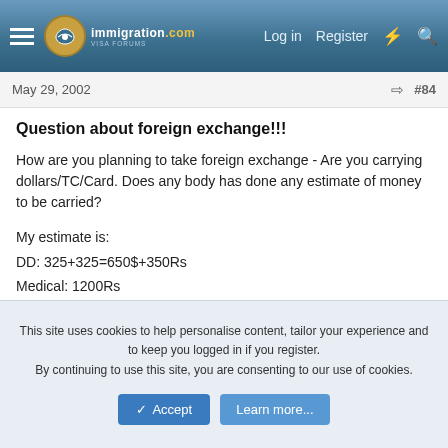immigration .com  Log in  Register  #84
May 29, 2002  #84
Question about foreign exchange!!!
How are you planning to take foreign exchange - Are you carrying dollars/TC/Card. Does any body has done any estimate of money to be carried?
My estimate is:
DD: 325+325=650$+350Rs
Medical: 1200Rs
Lister: 600Rs
Local Transportation: 1000Rs
Meals/Sundries: 1000Rs for 4 days
This site uses cookies to help personalise content, tailor your experience and to keep you logged in if you register.
By continuing to use this site, you are consenting to our use of cookies.